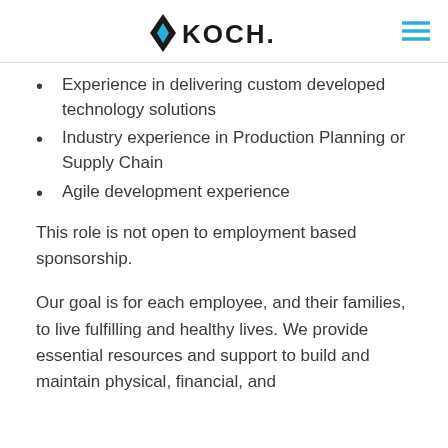KOCH
Experience in delivering custom developed technology solutions
Industry experience in Production Planning or Supply Chain
Agile development experience
This role is not open to employment based sponsorship.
Our goal is for each employee, and their families, to live fulfilling and healthy lives. We provide essential resources and support to build and maintain physical, financial, and